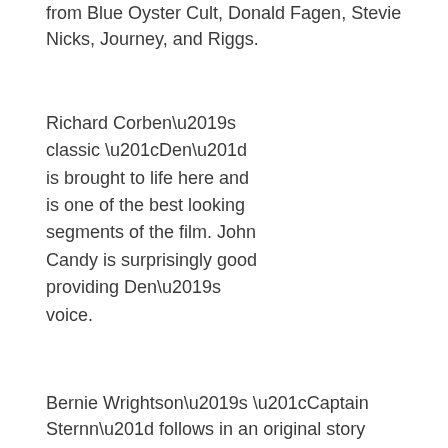from Blue Oyster Cult, Donald Fagen, Stevie Nicks, Journey, and Riggs.
Richard Corben’s classic “Den” is brought to life here and is one of the best looking segments of the film. John Candy is surprisingly good providing Den’s voice.
Bernie Wrightson’s “Captain Sternn” follows in an original story after the hero debuted in the magazine a year earlier.